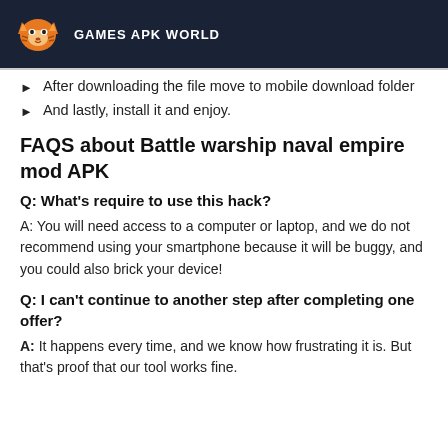GAMES APK WORLD
After downloading the file move to mobile download folder
And lastly, install it and enjoy.
FAQS about Battle warship naval empire mod APK
Q: What's require to use this hack?
A: You will need access to a computer or laptop, and we do not recommend using your smartphone because it will be buggy, and you could also brick your device!
Q: I can't continue to another step after completing one offer?
A: It happens every time, and we know how frustrating it is. But that's proof that our tool works fine.